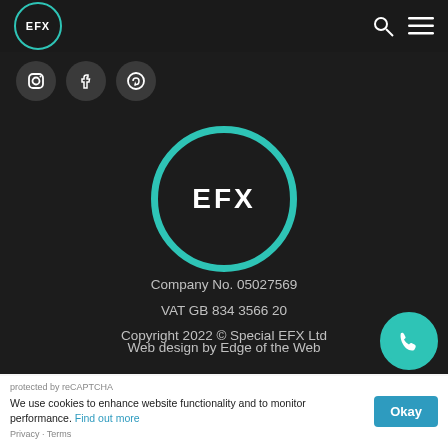[Figure (logo): EFX logo in top nav bar: circle with teal border, white EFX text inside, on dark background]
[Figure (logo): Social media icons row: three dark circle icons (Instagram, Facebook, Pinterest) on dark background]
[Figure (logo): Large EFX logo: circle with thick teal border, white bold EFX text inside, on dark background]
Company No. 05027569
VAT GB 834 3566 20
Copyright 2022 © Special EFX Ltd
Web design by Edge of the Web
We use cookies to enhance website functionality and to monitor performance. Find out more